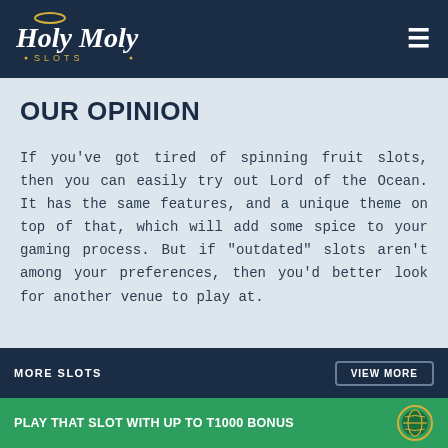Holy Moly Slots
OUR OPINION
If you've got tired of spinning fruit slots, then you can easily try out Lord of the Ocean. It has the same features, and a unique theme on top of that, which will add some spice to your gaming process. But if "outdated" slots aren't among your preferences, then you'd better look for another venue to play at.
MORE SLOTS
VIEW MORE
PLAY THAT SLOT WITH UP TO T1000 BONUS